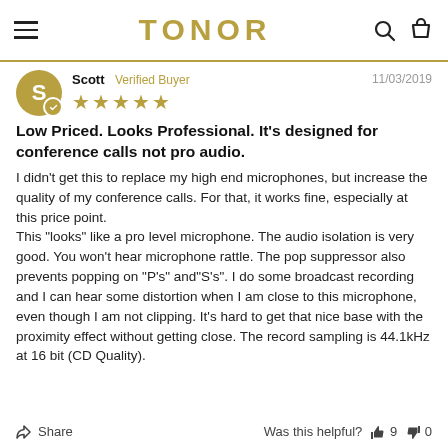TONOR
Scott  Verified Buyer  11/03/2019  ★★★★★
Low Priced. Looks Professional. It's designed for conference calls not pro audio.
I didn't get this to replace my high end microphones, but increase the quality of my conference calls. For that, it works fine, especially at this price point.
This "looks" like a pro level microphone. The audio isolation is very good. You won't hear microphone rattle. The pop suppressor also prevents popping on "P's" and"S's". I do some broadcast recording and I can hear some distortion when I am close to this microphone, even though I am not clipping. It's hard to get that nice base with the proximity effect without getting close. The record sampling is 44.1kHz at 16 bit (CD Quality).
Share   Was this helpful?  👍 9  👎 0